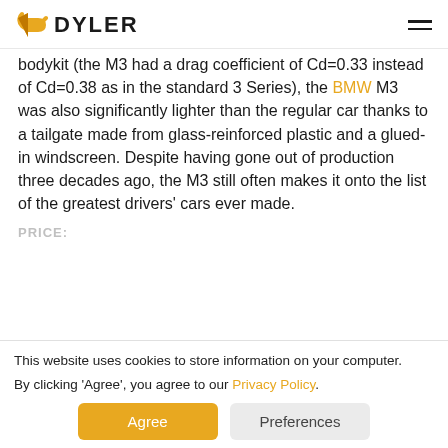DYLER
bodykit (the M3 had a drag coefficient of Cd=0.33 instead of Cd=0.38 as in the standard 3 Series), the BMW M3 was also significantly lighter than the regular car thanks to a tailgate made from glass-reinforced plastic and a glued-in windscreen. Despite having gone out of production three decades ago, the M3 still often makes it onto the list of the greatest drivers' cars ever made.
PRICE:
This website uses cookies to store information on your computer. By clicking 'Agree', you agree to our Privacy Policy.